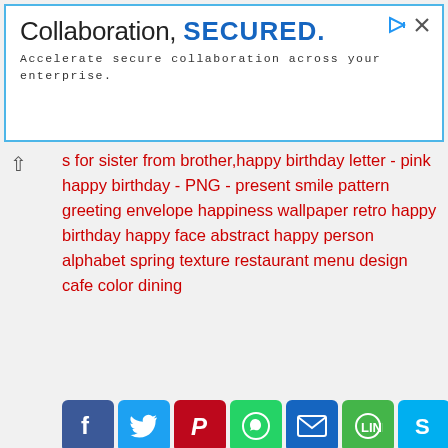[Figure (screenshot): Advertisement banner with blue border. Text: 'Collaboration, SECURED.' and 'Accelerate secure collaboration across your enterprise.' with play and close icons.]
s for sister from brother,happy birthday letter - pink happy birthday - PNG - present smile pattern greeting envelope happiness wallpaper retro happy birthday happy face abstract happy person alphabet spring texture restaurant menu design cafe color dining
[Figure (infographic): Row of social sharing icon buttons: Facebook, Twitter, Pinterest, WhatsApp, Email, Line, Skype, VK, Share+]
Embed this image to Your Website/blog
Text link to this image:
TopPNG uses cookies to ensure you get the best experience on our website.  Learn more
Decline        OK, i'm agree :)
<a title="ifts for sister from brother,happy birthday